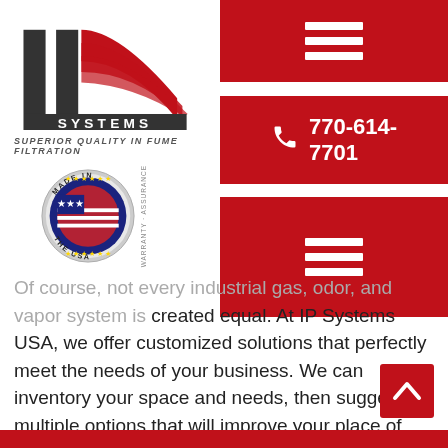[Figure (logo): IP Systems logo with red and dark text reading 'IP SYSTEMS' and tagline 'SUPERIOR QUALITY IN FUME FILTRATION']
[Figure (infographic): Red navigation hamburger menu button at top right]
[Figure (infographic): Red phone button showing number 770-614-7701]
[Figure (infographic): Red hamburger menu button below phone button]
[Figure (logo): Made in the USA circular badge with American flag]
Of course, not every industrial gas, odor, and vapor system is created equal. At IP Systems USA, we offer customized solutions that perfectly meet the needs of your business. We can inventory your space and needs, then suggest multiple options that will improve your place of business. To learn more, schedule your consultation.
[Figure (infographic): Red scroll-to-top button with upward chevron arrow]